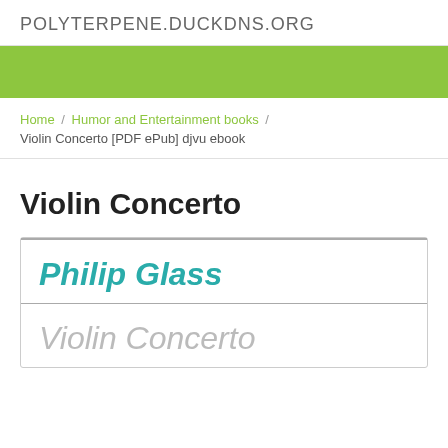POLYTERPENE.DUCKDNS.ORG
[Figure (other): Green banner/navigation bar]
Home / Humor and Entertainment books / Violin Concerto [PDF ePub] djvu ebook
Violin Concerto
Philip Glass
Violin Concerto